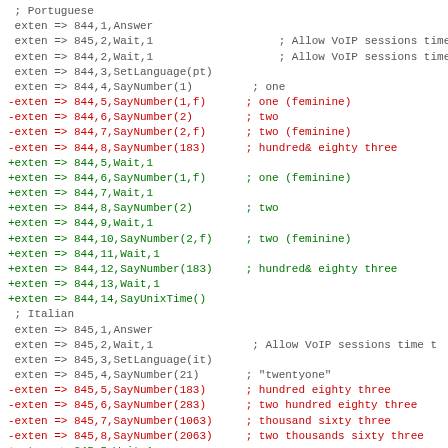; Portuguese
 exten => 844,1,Answer
 exten => 844,2,Wait,1                 ; Allow VoIP sessions time t
 exten => 844,3,SetLanguage(pt)
 exten => 844,4,SayNumber(1)         ; one
-exten => 844,5,SayNumber(1,f)      ; one (feminine)
-exten => 844,6,SayNumber(2)        ; two
-exten => 844,7,SayNumber(2,f)      ; two (feminine)
-exten => 844,8,SayNumber(183)      ; hundred& eighty three
+exten => 844,5,Wait,1
+exten => 844,6,SayNumber(1,f)      ; one (feminine)
+exten => 844,7,Wait,1
+exten => 844,8,SayNumber(2)        ; two
+exten => 844,9,Wait,1
+exten => 844,10,SayNumber(2,f)     ; two (feminine)
+exten => 844,11,Wait,1
+exten => 844,12,SayNumber(183)     ; hundred& eighty three
+exten => 844,13,Wait,1
+exten => 844,14,SayUnixTime()
 ; Italian
 exten => 845,1,Answer
 exten => 845,2,Wait,1               ; Allow VoIP sessions time t
 exten => 845,3,SetLanguage(it)
 exten => 845,4,SayNumber(21)       ; "twentyone"
-exten => 845,5,SayNumber(183)      ; hundred eighty three
-exten => 845,6,SayNumber(283)      ; two hundred eighty three
-exten => 845,7,SayNumber(1063)     ; thousand sixty three
-exten => 845,8,SayNumber(2063)     ; two thousands sixty three
+exten => 845,5,Wait,1
+exten => 845,6,SayNumber(183)      ; hundred eighty three
+exten => 845,7,Wait,1
+exten => 845,8,SayNumber(283)      ; two hundred eighty three